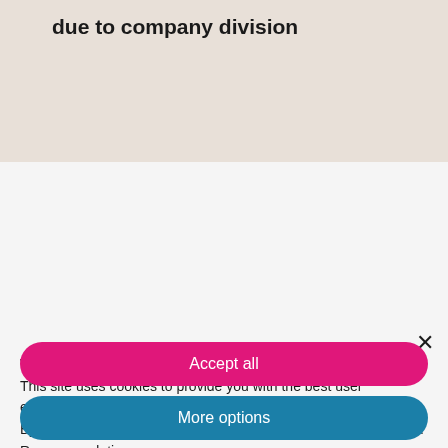due to company division
Welcome!
This site uses cookies to provide you with the best user experience.
By continuing to browse the site, you agree to the use of cookies.
Recommandation
You have the option to accept all cookies recommended by us, or to make your own selection.
You can revoke your consent to the selection made at any time.
Accept all
More options